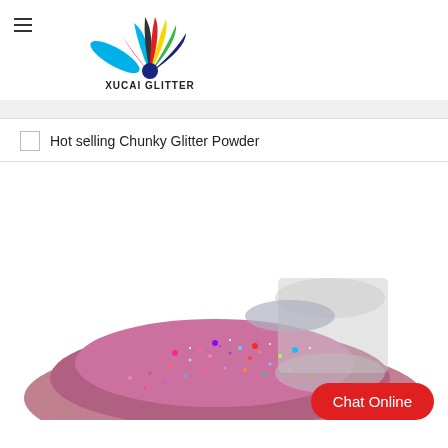[Figure (logo): Xucai Glitter logo with colorful fan of teardrop shapes (blue, dark gray, red, yellow, green, dark blue) and brand name 'XUCAI GLITTER' below]
Hot selling Chunky Glitter Powder
[Figure (photo): Photo of a clear jar/container tipped over spilling colorful holographic chunky glitter powder (pink, purple, red, blue, silver) onto a white surface]
Chat Online